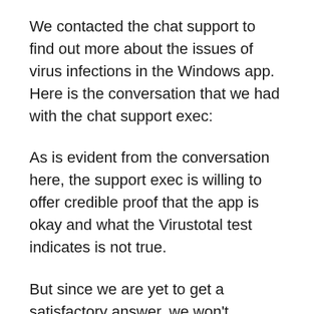We contacted the chat support to find out more about the issues of virus infections in the Windows app. Here is the conversation that we had with the chat support exec:
As is evident from the conversation here, the support exec is willing to offer credible proof that the app is okay and what the Virustotal test indicates is not true.
But since we are yet to get a satisfactory answer, we won't recommend you to go for the app. When we get the proofs from the NordVPN's experts, we will definitely elaborate on this further.